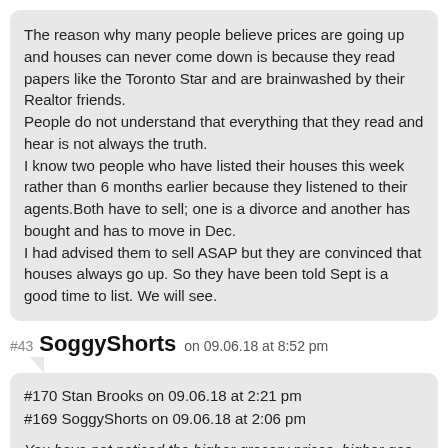The reason why many people believe prices are going up and houses can never come down is because they read papers like the Toronto Star and are brainwashed by their Realtor friends.
People do not understand that everything that they read and hear is not always the truth.
I know two people who have listed their houses this week rather than 6 months earlier because they listened to their agents.Both have to sell; one is a divorce and another has bought and has to move in Dec.
I had advised them to sell ASAP but they are convinced that houses always go up. So they have been told Sept is a good time to list. We will see.
#43 SoggyShorts on 09.06.18 at 8:52 pm
#170 Stan Brooks on 09.06.18 at 2:21 pm
#169 SoggyShorts on 09.06.18 at 2:06 pm
You have not noticed the higher grocery prices, higher gas prices, higher electricity prices?
Groceries, yes but not anywhere near 10% per year.